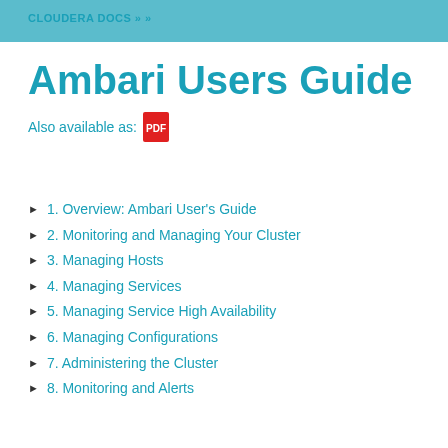CLOUDERA DOCS » »
Ambari Users Guide
Also available as: [PDF icon]
1. Overview: Ambari User's Guide
2. Monitoring and Managing Your Cluster
3. Managing Hosts
4. Managing Services
5. Managing Service High Availability
6. Managing Configurations
7. Administering the Cluster
8. Monitoring and Alerts